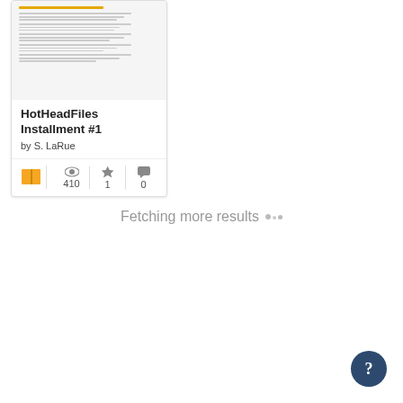[Figure (screenshot): Book/document card thumbnail with orange-highlighted lines at top and gray lines below, representing document preview]
HotHeadFiles Installment #1
by S. LaRue
410 views, 1 star, 0 comments
Fetching more results
[Figure (other): Dark blue circular help button with question mark icon in bottom right corner]